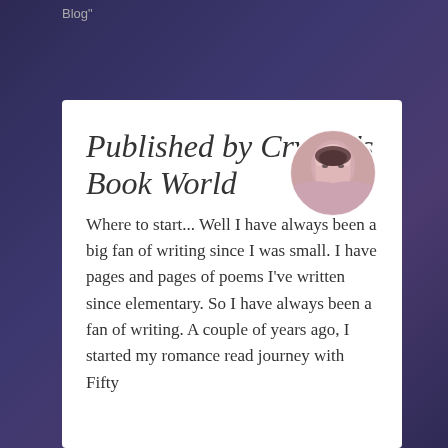Blog"
Published by Crystal's Book World
[Figure (photo): Circular profile photo of a young woman with dark hair, soft lighting, pinkish tones]
Where to start... Well I have always been a big fan of writing since I was small. I have pages and pages of poems I've written since elementary. So I have always been a fan of writing. A couple of years ago, I started my romance read journey with Fifty